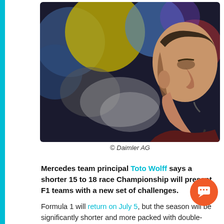[Figure (photo): A man in profile view wearing a headset/microphone, against a blurred bokeh background with colorful lights (yellow, blue, red). Appears to be a Formula 1 team principal at a race event.]
© Daimler AG
Mercedes team principal Toto Wolff says a shorter 15 to 18 race Championship will present F1 teams with a new set of challenges.
Formula 1 will return on July 5, but the season will be significantly shorter and more packed with double-header and triple-header races. What was originally supposed to be the longest Formula 1 season in history, will now be a shorter 15 to 18 race Championship.